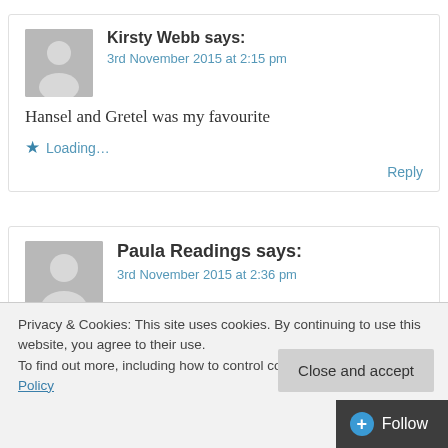Kirsty Webb says:
3rd November 2015 at 2:15 pm
Hansel and Gretel was my favourite
Loading...
Reply
Paula Readings says:
3rd November 2015 at 2:36 pm
Privacy & Cookies: This site uses cookies. By continuing to use this website, you agree to their use.
To find out more, including how to control cookies, see here: Cookie Policy
Close and accept
Follow